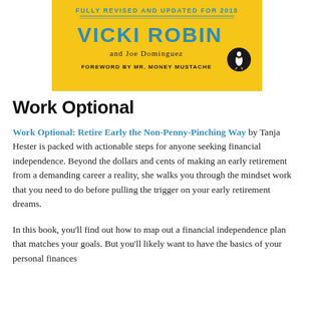[Figure (illustration): Book cover of 'Your Money or Your Life' by Vicki Robin and Joe Dominguez, with yellow background, teal and dark text reading 'FULLY REVISED AND UPDATED FOR 2018', 'VICKI ROBIN', 'and Joe Dominguez', 'FOREWORD BY MR. MONEY MUSTACHE', with Penguin Books logo.]
Work Optional
Work Optional: Retire Early the Non-Penny-Pinching Way by Tanja Hester is packed with actionable steps for anyone seeking financial independence. Beyond the dollars and cents of making an early retirement from a demanding career a reality, she walks you through the mindset work that you need to do before pulling the trigger on your early retirement dreams.
In this book, you'll find out how to map out a financial independence plan that matches your goals. But you'll likely want to have the basics of your personal finances